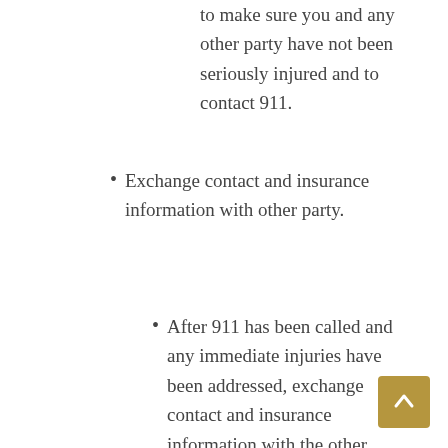to make sure you and any other party have not been seriously injured and to contact 911.
Exchange contact and insurance information with other party.
After 911 has been called and any immediate injuries have been addressed, exchange contact and insurance information with the other party(ies). Gathering